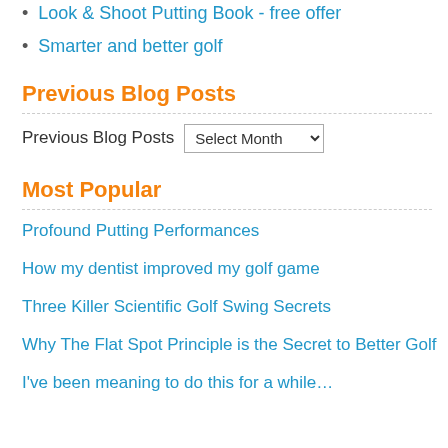Look & Shoot Putting Book - free offer
Smarter and better golf
Previous Blog Posts
Previous Blog Posts  Select Month
Most Popular
Profound Putting Performances
How my dentist improved my golf game
Three Killer Scientific Golf Swing Secrets
Why The Flat Spot Principle is the Secret to Better Golf
I've been meaning to do this for a while…